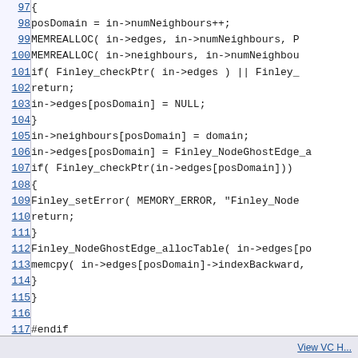[Figure (screenshot): Source code listing (C/C++) with line numbers 97-117, showing code for managing domain neighbours and edges in a Finley mesh library, including MEMREALLOC calls, pointer checks, error handling, and memcpy.]
View VC H...